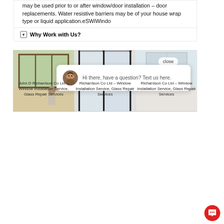may be used prior to or after window/door installation – door replacements. Water resistive barriers may be of your house wrap type or liquid application.eSWiWindo
Why Work with Us?
[Figure (photo): Three-panel photo strip showing windows: left panel shows a woman sitting by bay windows with greenery outside, middle panel shows a modern interior with tall black-framed windows, right panel shows a light minimalist interior with windows.]
close
[Figure (screenshot): Chat popup widget with a male avatar photo and the message: Hi there, have a question? Text us here.]
Hi there, have a question? Text us here.
John D Richardson Co Ltd – Window Installation Service, Glass Repair Services
Richardson Co Ltd – Window Installation Service, Glass Repair Services
Richardson Co Ltd – Window Installation Service, Glass Repair Services